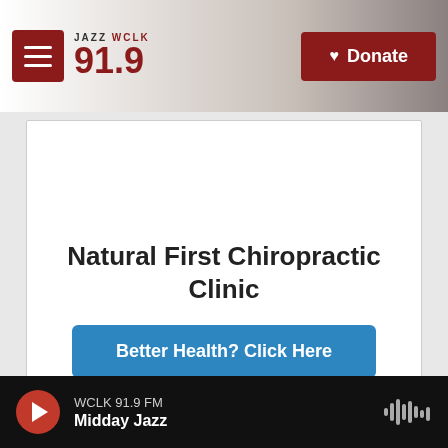JAZZ WCLK 91.9
[Figure (logo): JAZZ WCLK 91.9 FM radio station logo with red hamburger menu button and red Donate button]
Natural First Chiropractic Clinic
Better Health? Click Here
[Figure (screenshot): Second advertisement card, partially visible]
WCLK 91.9 FM Midday Jazz